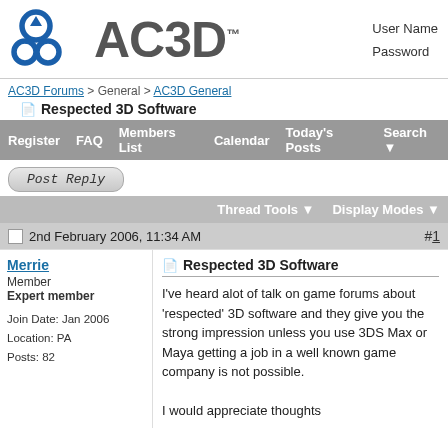[Figure (logo): AC3D logo with blue icon and gray AC3D text with TM mark]
User Name
Password
AC3D Forums > General > AC3D General
Respected 3D Software
Register   FAQ   Members List   Calendar   Today's Posts   Search
Post Reply
Thread Tools   Display Modes
2nd February 2006, 11:34 AM   #1
Merrie
Member
Expert member

Join Date: Jan 2006
Location: PA
Posts: 82
Respected 3D Software
I've heard alot of talk on game forums about 'respected' 3D software and they give you the strong impression unless you use 3DS Max or Maya getting a job in a well known game company is not possible.

I would appreciate thoughts